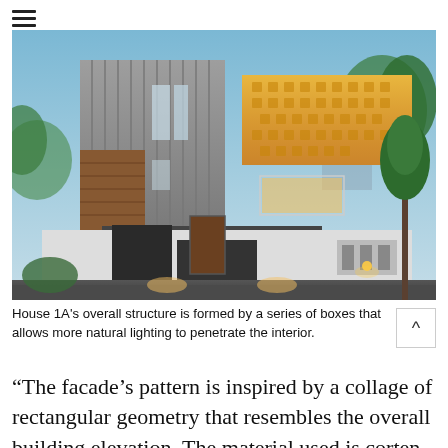[Figure (photo): Exterior photograph of House 1A at dusk/twilight, showing a modern two-storey residential building composed of a series of stacked box volumes. The left volume features vertical grey metal cladding, while the right upper portion has a decorative perforated corten steel screen with warm backlighting. The ground level has white rendered walls, a dark metal gate, a carport canopy, and warm accent lighting. Trees are visible on the right side and in the background.]
House 1A's overall structure is formed by a series of boxes that allows more natural lighting to penetrate the interior.
“The facade’s pattern is inspired by a collage of rectangular geometry that resembles the overall building elevation. The material used is corten steel and the facade